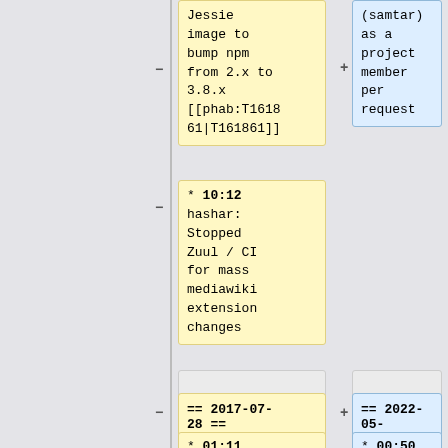Jessie image to bump npm from 2.x to 3.8.x [[phab:T161861|T161861]]
(samtar) as a project member per request
* 10:12 hashar: Stopped Zuul / CI for mass mediawiki extension changes
== 2017-07-28 ==
== 2022-05-13 ==
* 01:11
* 00:50